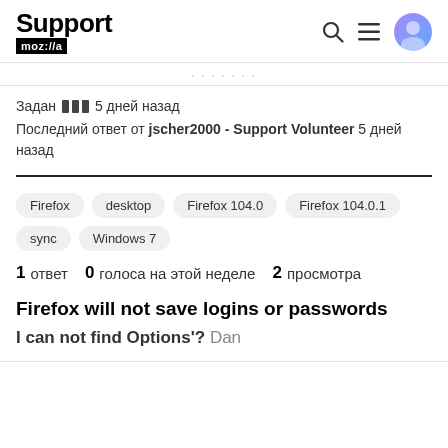Support mozilla//a
Задан 5 дней назад
Последний ответ от jscher2000 - Support Volunteer 5 дней назад
Firefox
desktop
Firefox 104.0
Firefox 104.0.1
sync
Windows 7
1 ответ   0 голоса на этой неделе   2 просмотра
Firefox will not save logins or passwords
I can not find Options'? Dan